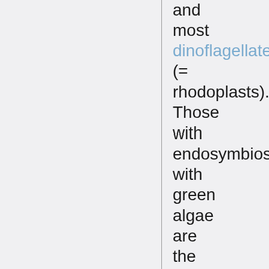and most dinoflagellates (= rhodoplasts). Those with endosymbioses with green algae are the euglenids and the